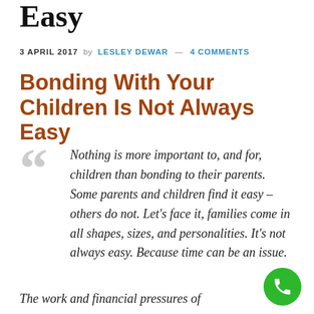Easy
3 APRIL 2017 by LESLEY DEWAR — 4 COMMENTS
Bonding With Your Children Is Not Always Easy
Nothing is more important to, and for, children than bonding to their parents. Some parents and children find it easy – others do not. Let's face it, families come in all shapes, sizes, and personalities. It's not always easy. Because time can be an issue.
The work and financial pressures of